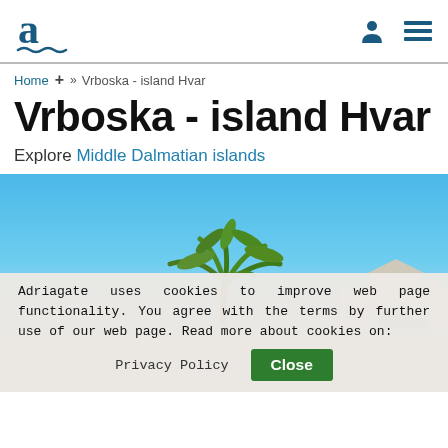Adriagate logo, user icon, menu icon
Home + » Vrboska - island Hvar
Vrboska - island Hvar
Explore Middle Dalmatian islands
[Figure (photo): Coastal scene of Vrboska on island Hvar — blue sky, palm tree, white buildings, waterfront, Croatia]
Adriagate uses cookies to improve web page functionality. You agree with the terms by further use of our web page. Read more about cookies on: Privacy Policy  Close